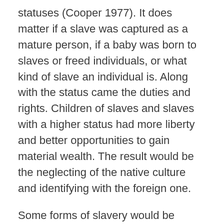statuses (Cooper 1977). It does matter if a slave was captured as a mature person, if a baby was born to slaves or freed individuals, or what kind of slave an individual is. Along with the status came the duties and rights. Children of slaves and slaves with a higher status had more liberty and better opportunities to gain material wealth. The result would be the neglecting of the native culture and identifying with the foreign one.
Some forms of slavery would be almost impossible to recognise in the archaeological record. Eunuchs, concubines and domestic slaves were almost identical to their Muslim masters material-wise. They were part of the Muslim household and were thus more likely embraced by the family. These slaves are in contact to the ...